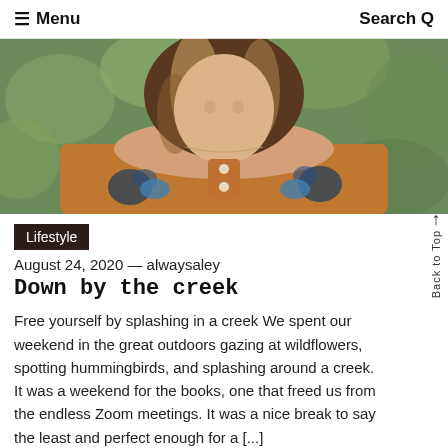≡ Menu   Search Q
[Figure (photo): Portrait photo of a young woman with highlighted hair wearing an off-shoulder rust/orange floral top, photographed outdoors with green bokeh background]
Lifestyle
August 24, 2020 — alwaysaley
Down by the creek
Free yourself by splashing in a creek We spent our weekend in the great outdoors gazing at wildflowers, spotting hummingbirds, and splashing around a creek. It was a weekend for the books, one that freed us from the endless Zoom meetings. It was a nice break to say the least and perfect enough for a [...]